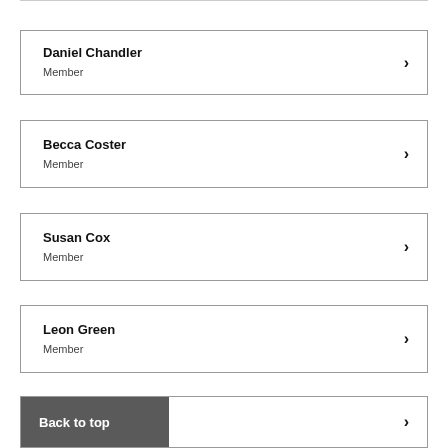Daniel Chandler
Member
Becca Coster
Member
Susan Cox
Member
Leon Green
Member
Back to top